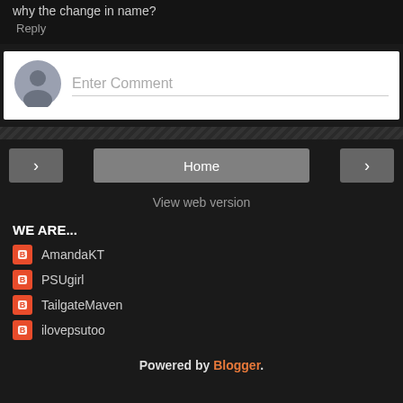why the change in name?
Reply
[Figure (screenshot): Comment input box with user avatar placeholder and 'Enter Comment' placeholder text]
[Figure (other): Navigation bar with left arrow, Home button, and right arrow buttons]
View web version
WE ARE...
AmandaKT
PSUgirl
TailgateMaven
ilovepsutoo
Powered by Blogger.